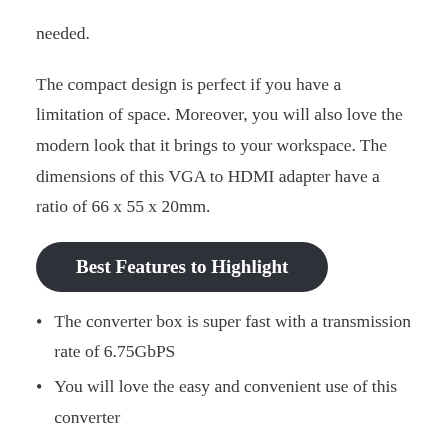needed.
The compact design is perfect if you have a limitation of space. Moreover, you will also love the modern look that it brings to your workspace. The dimensions of this VGA to HDMI adapter have a ratio of 66 x 55 x 20mm.
Best Features to Highlight
The converter box is super fast with a transmission rate of 6.75GbPS
You will love the easy and convenient use of this converter